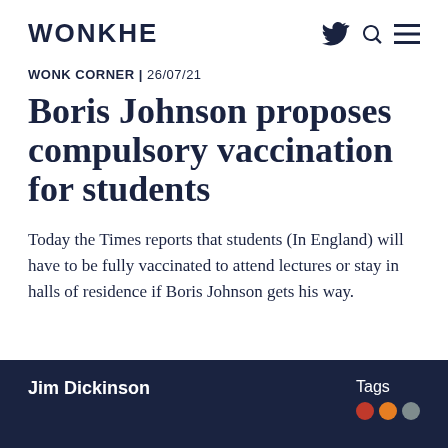WONKHE
WONK CORNER | 26/07/21
Boris Johnson proposes compulsory vaccination for students
Today the Times reports that students (In England) will have to be fully vaccinated to attend lectures or stay in halls of residence if Boris Johnson gets his way.
Jim Dickinson   Tags